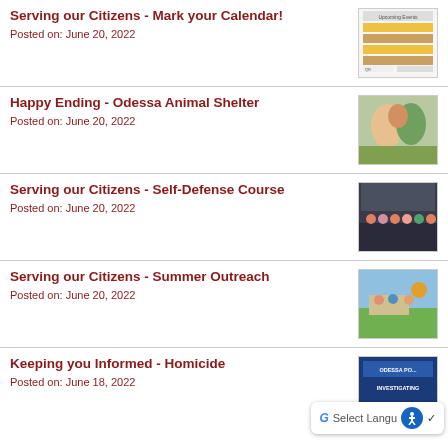Serving our Citizens - Mark your Calendar!
Posted on: June 20, 2022
[Figure (photo): Calendar flyer thumbnail with yellow and tan colored rows]
Happy Ending - Odessa Animal Shelter
Posted on: June 20, 2022
[Figure (photo): Photo of people holding a small animal]
Serving our Citizens - Self-Defense Course
Posted on: June 20, 2022
[Figure (photo): Group photo of people in a gym room for self-defense course]
Serving our Citizens - Summer Outreach
Posted on: June 20, 2022
[Figure (photo): Outdoor photo of people at a table during summer outreach event]
Keeping you Informed - Homicide
Posted on: June 18, 2022
[Figure (photo): Odessa Police Investigating Homicide notice thumbnail with blue background]